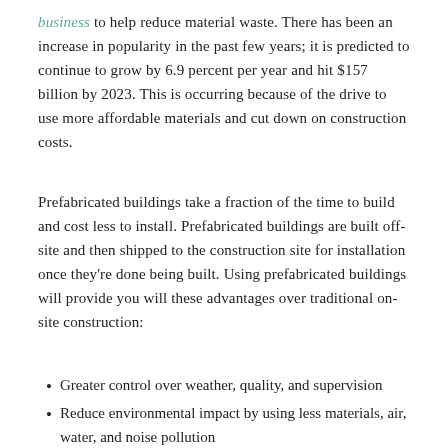business to help reduce material waste. There has been an increase in popularity in the past few years; it is predicted to continue to grow by 6.9 percent per year and hit $157 billion by 2023. This is occurring because of the drive to use more affordable materials and cut down on construction costs.
Prefabricated buildings take a fraction of the time to build and cost less to install. Prefabricated buildings are built off-site and then shipped to the construction site for installation once they're done being built. Using prefabricated buildings will provide you will these advantages over traditional on-site construction:
Greater control over weather, quality, and supervision
Reduce environmental impact by using less materials, air, water, and noise pollution
You can streamline project schedules since the components for prefabricated buildings are built offsite
Conveniently storage which leads to less misplaced materials